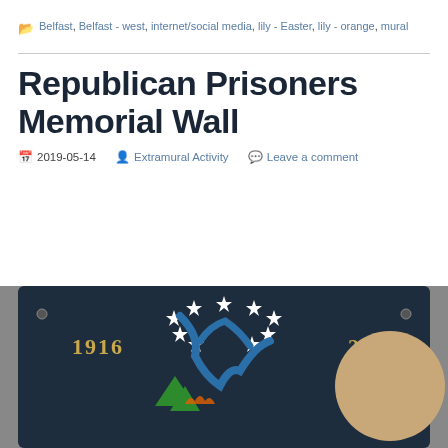Belfast, Belfast - west, internet/social media, lily - Easter, lily - orange, mural
Republican Prisoners Memorial Wall
2019-05-14  Extramural Activity  Leave a comment
[Figure (photo): A decorative plaque or memorial wall piece showing '1916' on the left and '2016' on the right, with stars, blue sculptural elements, green triangular shapes, and a partial portrait, mounted on a brick wall background.]